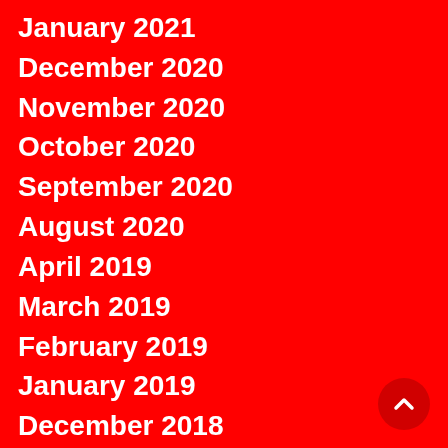January 2021
December 2020
November 2020
October 2020
September 2020
August 2020
April 2019
March 2019
February 2019
January 2019
December 2018
November 2018
October 2018
September 2018
August 2018